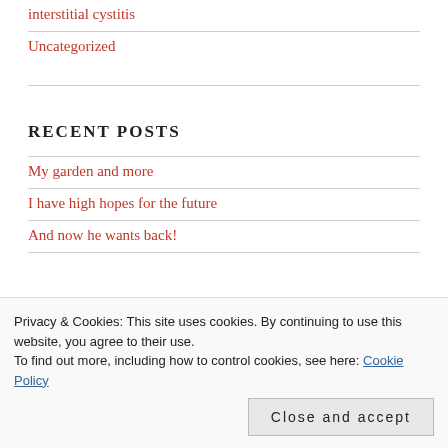interstitial cystitis
Uncategorized
RECENT POSTS
My garden and more
I have high hopes for the future
And now he wants back!
Privacy & Cookies: This site uses cookies. By continuing to use this website, you agree to their use.
To find out more, including how to control cookies, see here: Cookie Policy
Close and accept